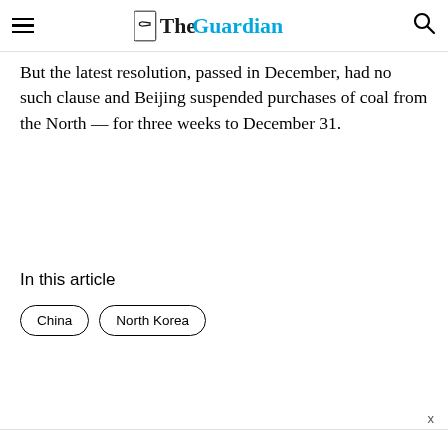The Guardian
But the latest resolution, passed in December, had no such clause and Beijing suspended purchases of coal from the North — for three weeks to December 31.
In this article
China
North Korea